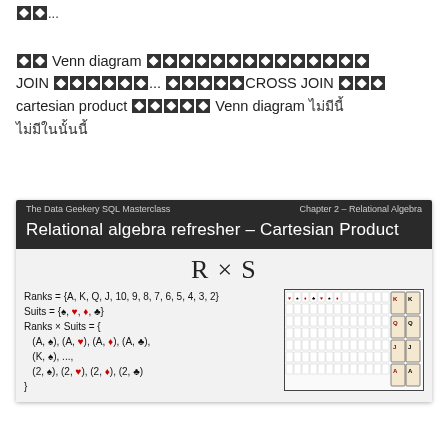[corrupted chars]...
[corrupted] Venn diagram [corrupted] JOIN [corrupted]... [corrupted]CROSS JOIN [corrupted] cartesian product [corrupted] Venn diagram [Thai text]
[Figure (screenshot): Slide titled 'Relational algebra refresher - Cartesian Product' from The Data Geekery SQL Masterclass, Chapter 2 - Relational Algebra. Shows R x S formula, Ranks and Suits sets, playing card grid illustration.]